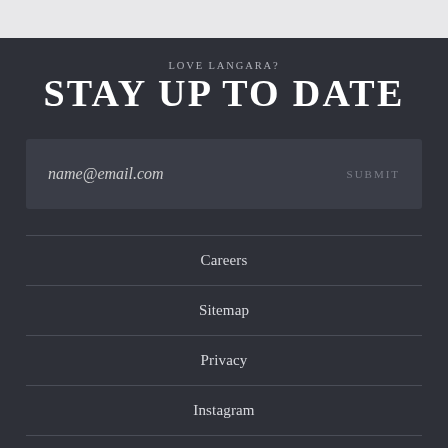[Figure (photo): Light grey textured top strip background]
LOVE LANGARA?
STAY UP TO DATE
name@email.com  SUBMIT
Careers
Sitemap
Privacy
Instagram